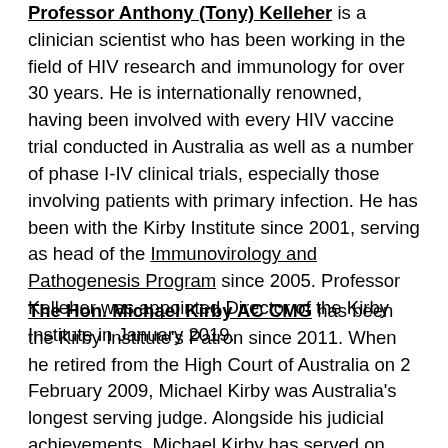Professor Anthony (Tony) Kelleher is a clinician scientist who has been working in the field of HIV research and immunology for over 30 years. He is internationally renowned, having been involved with every HIV vaccine trial conducted in Australia as well as a number of phase I-IV clinical trials, especially those involving patients with primary infection. He has been with the Kirby Institute since 2001, serving as head of the Immunovirology and Pathogenesis Program since 2005. Professor Kelleher was appointed Director of the Kirby Institute in January 2019.
The Hon. Michael Kirby AC CMG has been the Kirby Institute's Patron since 2011. When he retired from the High Court of Australia on 2 February 2009, Michael Kirby was Australia's longest serving judge. Alongside his judicial achievements, Michael Kirby has served on many national and international bodies, including as a member of the World Health Organization's Global Commission on AIDS